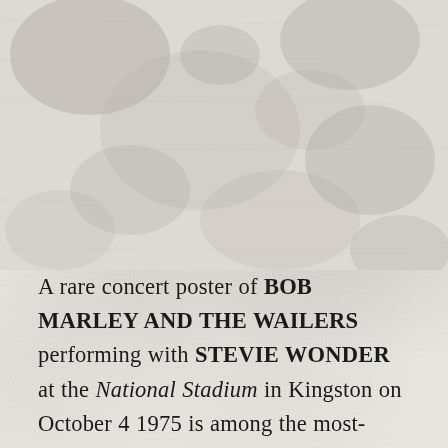[Figure (photo): Aged, textured paper background with grey mottled surface resembling weathered stone or old paper, occupying the upper portion of the page.]
A rare concert poster of BOB MARLEY AND THE WAILERS performing with STEVIE WONDER at the National Stadium in Kingston on October 4 1975 is among the most-sought after Marley items up for bidding through